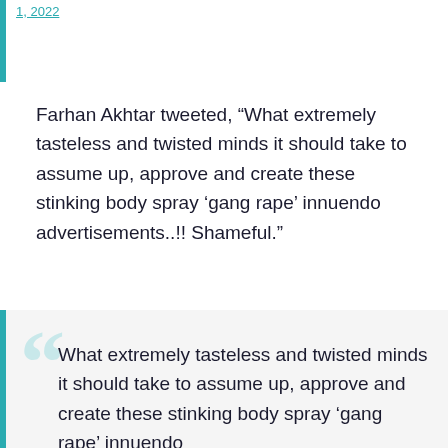1, 2022
Farhan Akhtar tweeted, “What extremely tasteless and twisted minds it should take to assume up, approve and create these stinking body spray ‘gang rape’ innuendo advertisements..!! Shameful.”
What extremely tasteless and twisted minds it should take to assume up, approve and create these stinking body spray ‘gang rape’ innuendo